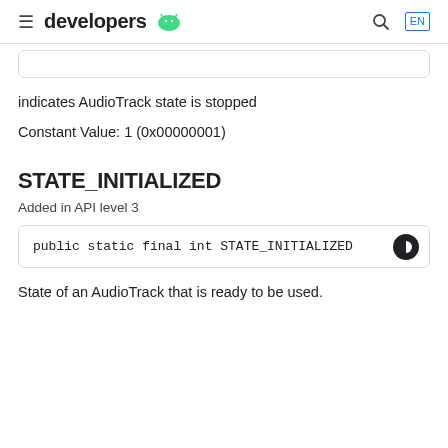developers
indicates AudioTrack state is stopped
Constant Value: 1 (0x00000001)
STATE_INITIALIZED
Added in API level 3
public static final int STATE_INITIALIZED
State of an AudioTrack that is ready to be used.